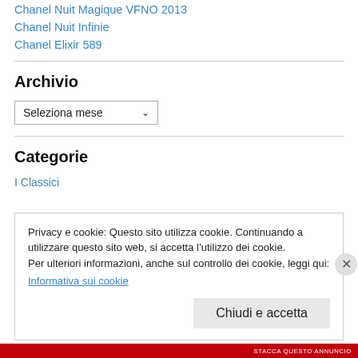Chanel Nuit Magique VFNO 2013
Chanel Nuit Infinie
Chanel Elixir 589
Archivio
Seleziona mese
Categorie
I Classici
Privacy e cookie: Questo sito utilizza cookie. Continuando a utilizzare questo sito web, si accetta l’utilizzo dei cookie.
Per ulteriori informazioni, anche sul controllo dei cookie, leggi qui:
Informativa sui cookie
Chiudi e accetta